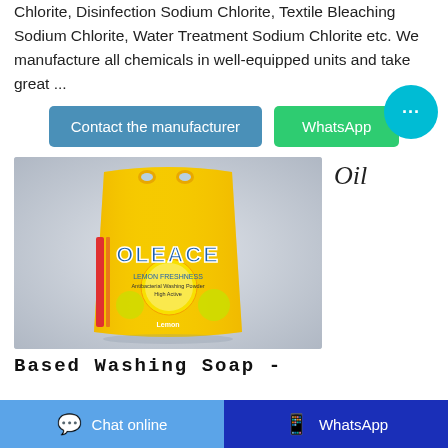Chlorite, Disinfection Sodium Chlorite, Textile Bleaching Sodium Chlorite, Water Treatment Sodium Chlorite etc. We manufacture all chemicals in well-equipped units and take great ...
Contact the manufacturer | WhatsApp
[Figure (photo): Yellow bag of OLEACE Lemon Freshness Antibacterial Washing Powder product photo on grey background]
Oil
Based Washing Soap -
Chat online | WhatsApp